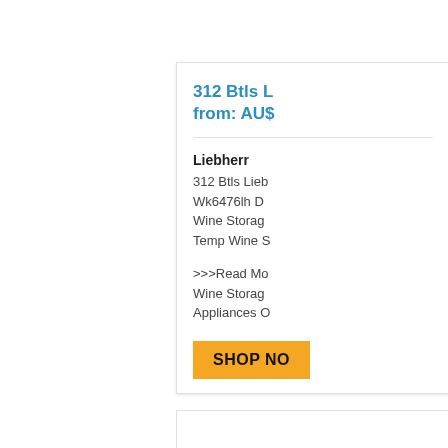312 Btls L from: AU$
Liebherr
312 Btls Lieb
Wk6476lh D
Wine Storage
Temp Wine S
>>>Read Mo
Wine Storage
Appliances O
SHOP NO